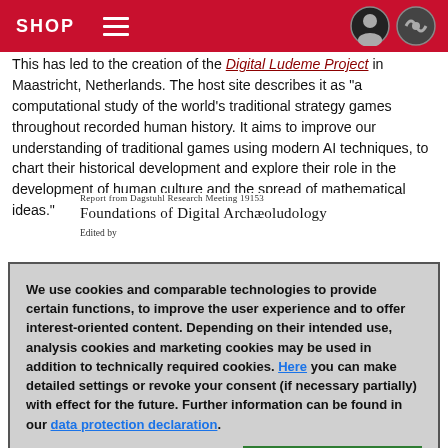SHOP
This has led to the creation of the Digital Ludeme Project in Maastricht, Netherlands. The host site describes it as "a computational study of the world's traditional strategy games throughout recorded human history. It aims to improve our understanding of traditional games using modern AI techniques, to chart their historical development and explore their role in the development of human culture and the spread of mathematical ideas."
[Figure (screenshot): Snippet of a Dagstuhl report cover page showing: 'Report from Dagstuhl Research Meeting 19153', 'Foundations of Digital Archaeoludology', 'Edited by']
We use cookies and comparable technologies to provide certain functions, to improve the user experience and to offer interest-oriented content. Depending on their intended use, analysis cookies and marketing cookies may be used in addition to technically required cookies. Here you can make detailed settings or revoke your consent (if necessary partially) with effect for the future. Further information can be found in our data protection declaration.